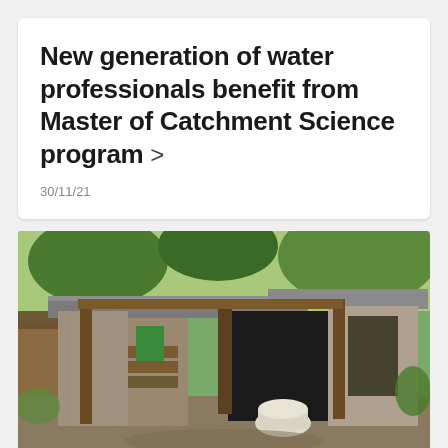New generation of water professionals benefit from Master of Catchment Science program >
30/11/21
[Figure (photo): Photograph of a rustic outdoor toilet/latrine structure made of weathered wood and corrugated metal, open door revealing a white toilet bowl inside, surrounded by dirt ground and tropical vegetation.]